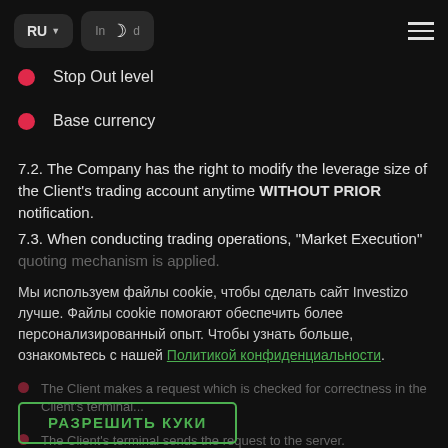RU | night mode | hamburger menu
Stop Out level
Base currency
7.2. The Company has the right to modify the leverage size of the Client's trading account anytime WITHOUT PRIOR notification.
7.3. When conducting trading operations, "Market Execution" quoting mechanism is applied.
Мы используем файлы cookie, чтобы сделать сайт Investizo лучше. Файлы cookie помогают обеспечить более персонализированный опыт. Чтобы узнать больше, ознакомьтесь с нашей Политикой конфиденциальности.
The Client makes a request which is checked for correctness in the Client's terminal...
РАЗРЕШИТЬ КУКИ
The Client's terminal sends the request to the server.